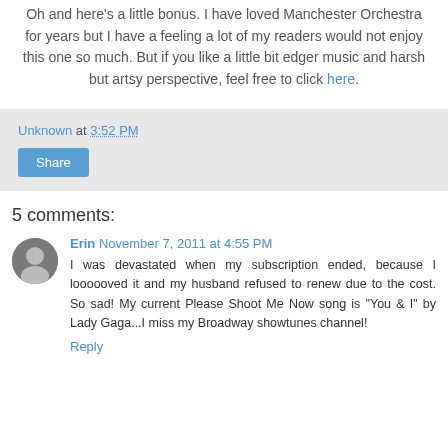Oh and here's a little bonus. I have loved Manchester Orchestra for years but I have a feeling a lot of my readers would not enjoy this one so much. But if you like a little bit edger music and harsh but artsy perspective, feel free to click here.
Unknown at 3:52 PM
Share
5 comments:
Erin November 7, 2011 at 4:55 PM
I was devastated when my subscription ended, because I loooooved it and my husband refused to renew due to the cost. So sad! My current Please Shoot Me Now song is "You & I" by Lady Gaga...I miss my Broadway showtunes channel!
Reply